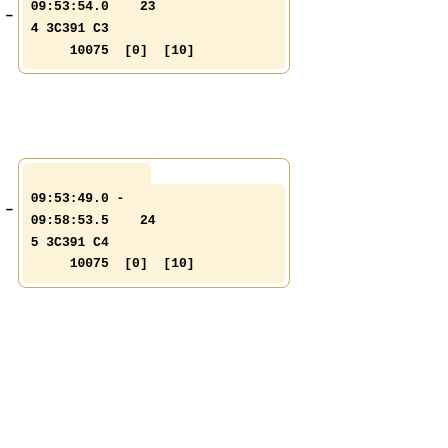– 09:53:54.0    23
4 3C391 C3
     10075  [0]  [10]
09:53:49.0 -
– 09:58:53.5    24
5 3C391 C4
     10075  [0]  [10]
09:58:48.5 -
– 10:03:53.0    25
6 3C391 C5
     10075  [0]  [10]
10:03:48.0 -
– 10:08:52.5    26
7 3C391 C6
     10075  [0]  [10]
(partial entry)